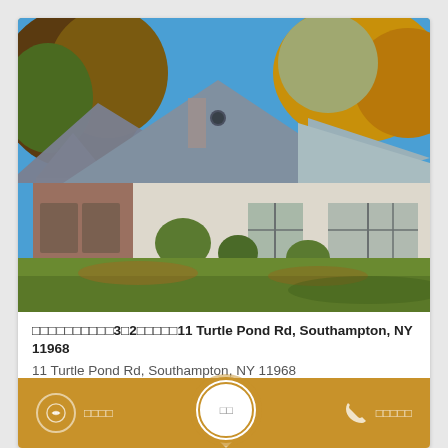[Figure (photo): Exterior photo of a house at 11 Turtle Pond Rd, Southampton, NY 11968. Cape-style home with gray shingle roof, white stucco walls, surrounded by autumn trees with orange and yellow foliage. Green lawn in foreground, blue sky above.]
□□□□□□□□□□3□2□□□□□11 Turtle Pond Rd, Southampton, NY 11968
11 Turtle Pond Rd, Southampton, NY 11968
□□□□□  □□□□□  □□□□